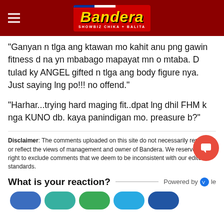Bandera — SHOWBIZ CHIKA + BALITA
“Ganyan n tlga ang ktawan mo kahit anu png gawin fitness d na yn mbabago mapayat mn o mtaba. D tulad ky ANGEL gifted n tlga ang body figure nya. Just saying lng po!!! no offend.”
“Harhar...trying hard maging fit..dpat lng dhil FHM k nga KUNO db. kaya panindigan mo. preasure b?”
Disclaimer: The comments uploaded on this site do not necessarily represent or reflect the views of management and owner of Bandera. We reserve the right to exclude comments that we deem to be inconsistent with our editorial standards.
What is your reaction?   Powered by Vuukle